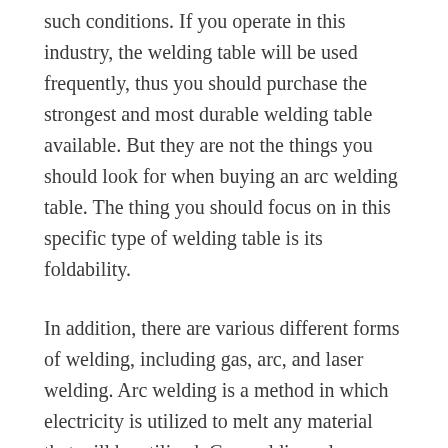such conditions. If you operate in this industry, the welding table will be used frequently, thus you should purchase the strongest and most durable welding table available. But they are not the things you should look for when buying an arc welding table. The thing you should focus on in this specific type of welding table is its foldability.
In addition, there are various different forms of welding, including gas, arc, and laser welding. Arc welding is a method in which electricity is utilized to melt any material that will be utilized. Gas welding, also known as oxy-fuel welding, is a type of welding that uses a high-temperature flame. Finally, laser welders use a high-energy beam to fuse materials together. It's a costly system that demands expert administration and dexterity.